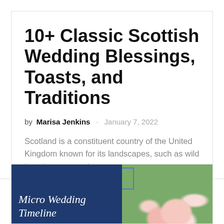10+ Classic Scottish Wedding Blessings, Toasts, and Traditions
by Marisa Jenkins · January 7, 2022
Scotland is a constituent country of the United Kingdom known for its landscapes, such as wild beaches, mountains,...
[Figure (illustration): Article preview card showing a dark navy blue background on the left with 'Micro Wedding Timeline' in white italic serif text, and a photo of pink/peach floral bouquet against green grass on the right.]